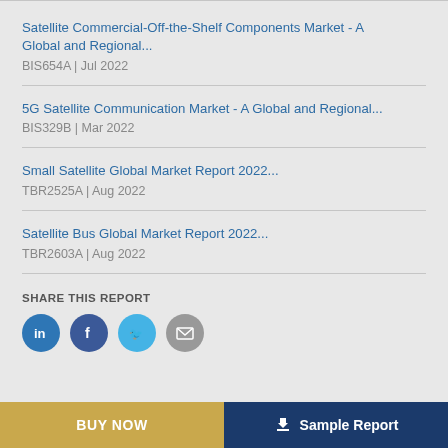Satellite Commercial-Off-the-Shelf Components Market - A Global and Regional...
BIS654A | Jul 2022
5G Satellite Communication Market - A Global and Regional...
BIS329B | Mar 2022
Small Satellite Global Market Report 2022...
TBR2525A | Aug 2022
Satellite Bus Global Market Report 2022...
TBR2603A | Aug 2022
SHARE THIS REPORT
BUY NOW | Sample Report